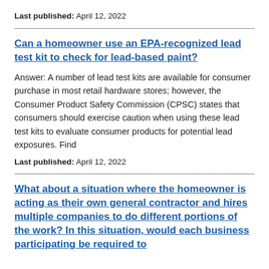Last published: April 12, 2022
Can a homeowner use an EPA-recognized lead test kit to check for lead-based paint?
Answer: A number of lead test kits are available for consumer purchase in most retail hardware stores; however, the Consumer Product Safety Commission (CPSC) states that consumers should exercise caution when using these lead test kits to evaluate consumer products for potential lead exposures. Find
Last published: April 12, 2022
What about a situation where the homeowner is acting as their own general contractor and hires multiple companies to do different portions of the work? In this situation, would each business participating be required to